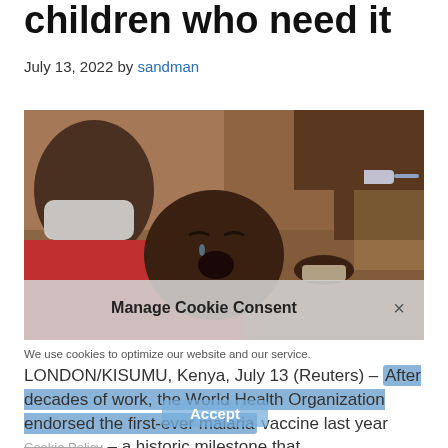children who need it
July 13, 2022 by sandman
[Figure (photo): A crying baby/young child receiving a vaccine injection, held by an adult wearing a medical mask, with another person's hand administering the injection.]
Manage Cookie Consent ×
We use cookies to optimize our website and our service.
LONDON/KISUMU, Kenya, July 13 (Reuters) – After decades of work, the World Health Organization endorsed the first-ever malaria vaccine last year – a historic milestone that
Accept
Cookie Policy